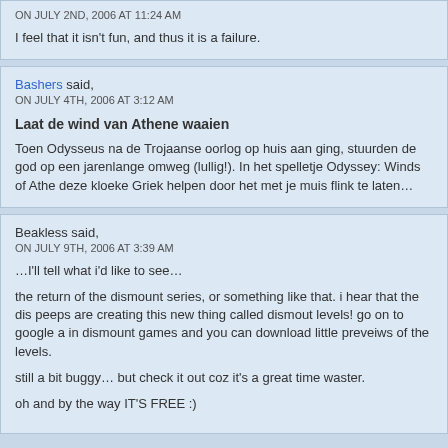ON JULY 2ND, 2006 AT 11:24 AM
I feel that it isn't fun, and thus it is a failure.
Bashers said,
ON JULY 4TH, 2006 AT 3:12 AM
Laat de wind van Athene waaien
Toen Odysseus na de Trojaanse oorlog op huis aan ging, stuurden de god op een jarenlange omweg (lullig!). In het spelletje Odyssey: Winds of Athe deze kloeke Griek helpen door het met je muis flink te laten…
Beakless said,
ON JULY 9TH, 2006 AT 3:39 AM
…I'll tell what i'd like to see…
the return of the dismount series, or something like that. i hear that the dis peeps are creating this new thing called dismout levels! go on to google a in dismount games and you can download little preveiws of the levels.
still a bit buggy… but check it out coz it's a great time waster.
oh and by the way IT'S FREE :)